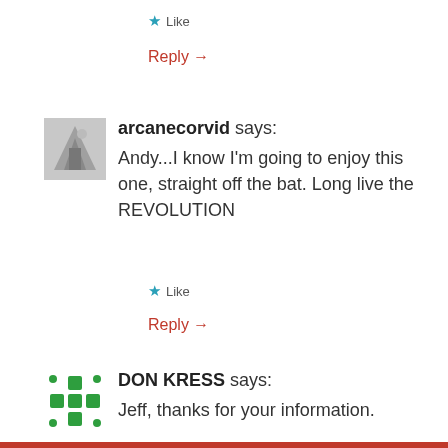★ Like
Reply →
arcanecorvid says:
Andy...I know I'm going to enjoy this one, straight off the bat. Long live the REVOLUTION
★ Like
Reply →
DON KRESS says:
Jeff, thanks for your information.